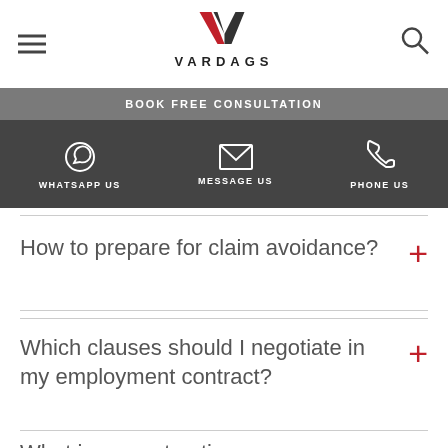VARDAGS
BOOK FREE CONSULTATION
WHATSAPP US   MESSAGE US   PHONE US
How to prepare for claim avoidance?
Which clauses should I negotiate in my employment contract?
What is a constructive